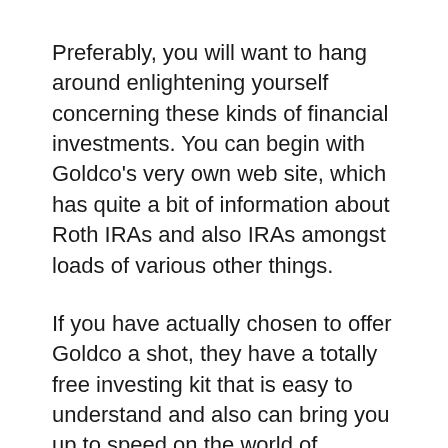Preferably, you will want to hang around enlightening yourself concerning these kinds of financial investments. You can begin with Goldco's very own web site, which has quite a bit of information about Roth IRAs and also IRAs amongst loads of various other things.
If you have actually chosen to offer Goldco a shot, they have a totally free investing kit that is easy to understand and also can bring you up to speed on the world of precious metals IRAs. Their customer service is wonderful, and also quick to react, so you can always approach them with any type of inquiries you may have.
Perch Fba